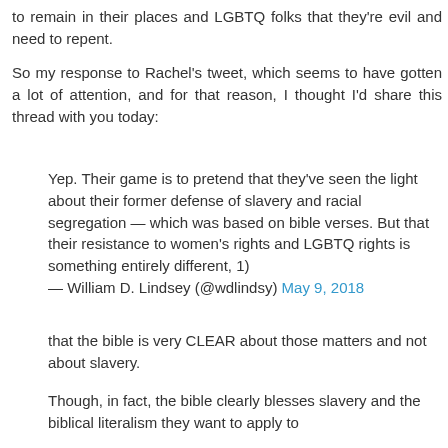to remain in their places and LGBTQ folks that they're evil and need to repent.
So my response to Rachel's tweet, which seems to have gotten a lot of attention, and for that reason, I thought I'd share this thread with you today:
Yep. Their game is to pretend that they've seen the light about their former defense of slavery and racial segregation — which was based on bible verses. But that their resistance to women's rights and LGBTQ rights is something entirely different, 1)
— William D. Lindsey (@wdlindsy) May 9, 2018
that the bible is very CLEAR about those matters and not about slavery.
Though, in fact, the bible clearly blesses slavery and the biblical literalism they want to apply to